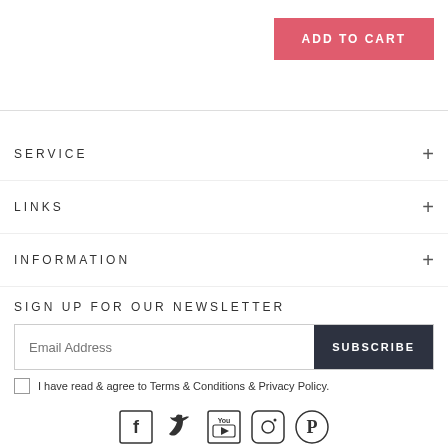ADD TO CART
SERVICE
LINKS
INFORMATION
SIGN UP FOR OUR NEWSLETTER
Email Address
SUBSCRIBE
I have read & agree to Terms & Conditions & Privacy Policy.
[Figure (illustration): Social media icons: Facebook, Twitter, YouTube, Instagram, Pinterest]